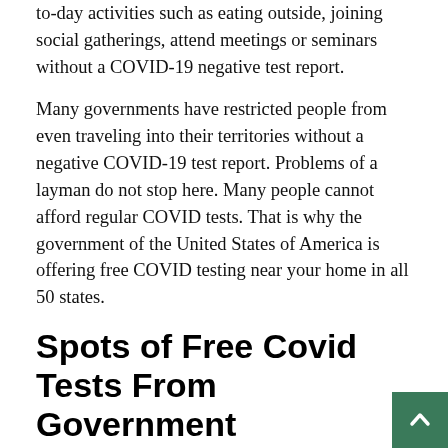to-day activities such as eating outside, joining social gatherings, attend meetings or seminars without a COVID-19 negative test report.
Many governments have restricted people from even traveling into their territories without a negative COVID-19 test report. Problems of a layman do not stop here. Many people cannot afford regular COVID tests. That is why the government of the United States of America is offering free COVID testing near your home in all 50 states.
Spots of Free Covid Tests From Government
Those who are actively taking part in social gatherings, meetings, and seminars need a negative COVID test report. Every person in our society is not Active enough to know all those spots are free COVID